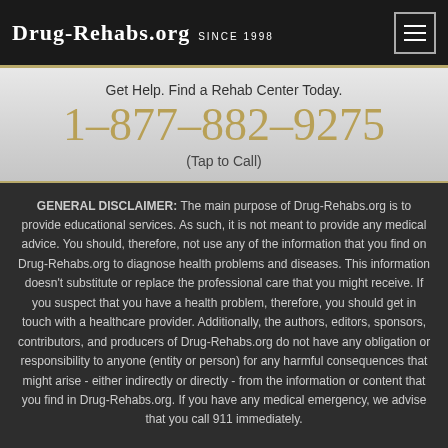DRUG-REHABS.ORG SINCE 1998
Get Help. Find a Rehab Center Today.
1-877-882-9275
(Tap to Call)
GENERAL DISCLAIMER: The main purpose of Drug-Rehabs.org is to provide educational services. As such, it is not meant to provide any medical advice. You should, therefore, not use any of the information that you find on Drug-Rehabs.org to diagnose health problems and diseases. This information doesn't substitute or replace the professional care that you might receive. If you suspect that you have a health problem, therefore, you should get in touch with a healthcare provider. Additionally, the authors, editors, sponsors, contributors, and producers of Drug-Rehabs.org do not have any obligation or responsibility to anyone (entity or person) for any harmful consequences that might arise - either indirectly or directly - from the information or content that you find in Drug-Rehabs.org. If you have any medical emergency, we advise that you call 911 immediately.